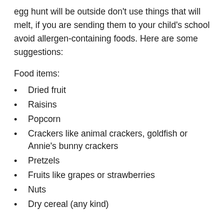egg hunt will be outside don't use things that will melt, if you are sending them to your child's school avoid allergen-containing foods. Here are some suggestions:
Food items:
Dried fruit
Raisins
Popcorn
Crackers like animal crackers, goldfish or Annie's bunny crackers
Pretzels
Fruits like grapes or strawberries
Nuts
Dry cereal (any kind)